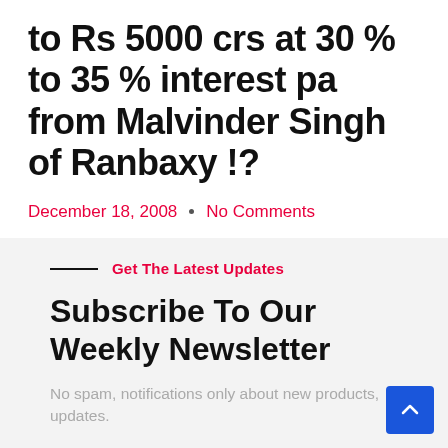to Rs 5000 crs at 30 % to 35 % interest pa from Malvinder Singh of Ranbaxy !?
December 18, 2008  •  No Comments
Get The Latest Updates
Subscribe To Our Weekly Newsletter
No spam, notifications only about new products, updates.